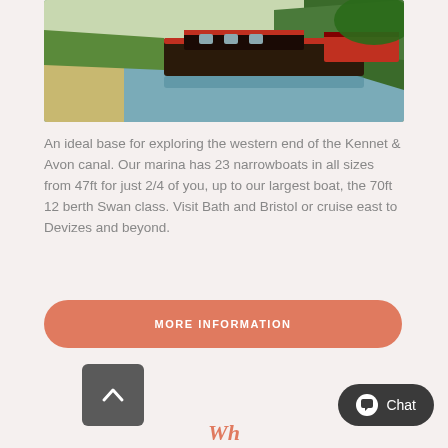[Figure (photo): Aerial or elevated view of narrowboats moored along the Kennet & Avon canal with green towpath and trees]
An ideal base for exploring the western end of the Kennet & Avon canal. Our marina has 23 narrowboats in all sizes from 47ft for just 2/4 of you, up to our largest boat, the 70ft 12 berth Swan class. Visit Bath and Bristol or cruise east to Devizes and beyond.
MORE INFORMATION